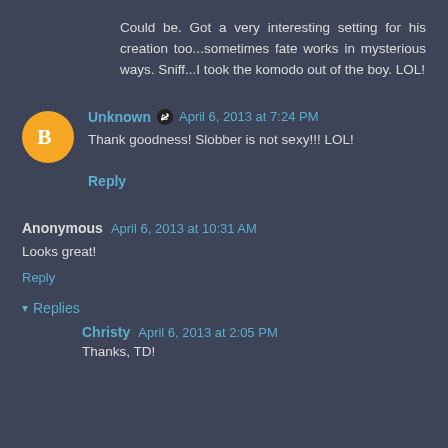Could be. Got a very interesting setting for his creation too...sometimes fate works in mysterious ways. Sniff...I took the komodo out of the boy. LOL!
Unknown · April 6, 2013 at 7:24 PM
Thank goodness! Slobber is not sexy!!! LOL!
Reply
Anonymous · April 6, 2013 at 10:31 AM
Looks great!
Reply
▾ Replies
Christy · April 6, 2013 at 2:05 PM
Thanks, TD!